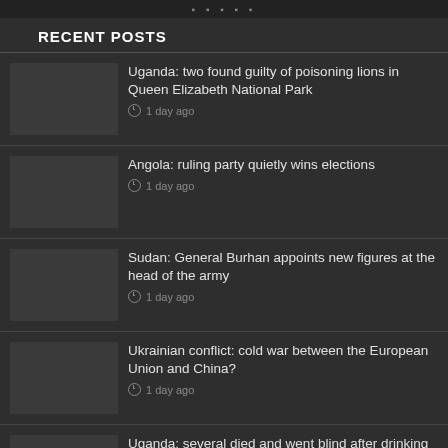RECENT POSTS
Uganda: two found guilty of poisoning lions in Queen Elizabeth National Park | 1 day ago
Angola: ruling party quietly wins elections | 1 day ago
Sudan: General Burhan appoints new figures at the head of the army | 1 day ago
Ukrainian conflict: cold war between the European Union and China? | 1 day ago
Uganda: several died and went blind after drinking toxic gin